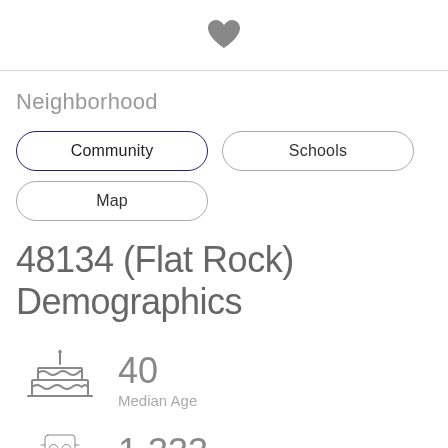[Figure (illustration): Heart icon (favorite/save button) centered at top]
Neighborhood
[Figure (illustration): Two pill-shaped tab buttons in a row: 'Community' (active, blue border) and 'Schools']
[Figure (illustration): Pill-shaped tab button: 'Map']
48134 (Flat Rock) Demographics
[Figure (illustration): Birthday cake icon representing median age]
40
Median Age
[Figure (illustration): Partial icon at bottom (robot/face icon) for next demographic stat]
1,333